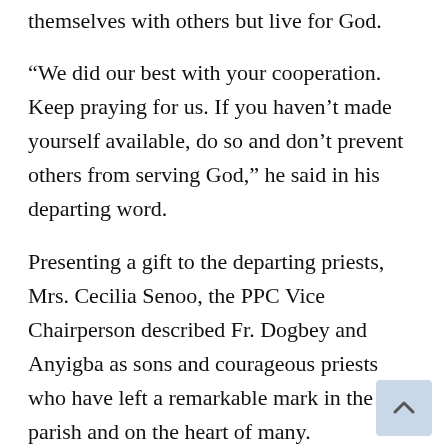themselves with others but live for God.
“We did our best with your cooperation. Keep praying for us. If you haven’t made yourself available, do so and don’t prevent others from serving God,” he said in his departing word.
Presenting a gift to the departing priests, Mrs. Cecilia Senoo, the PPC Vice Chairperson described Fr. Dogbey and Anyigba as sons and courageous priests who have left a remarkable mark in the parish and on the heart of many.
“He is exceptionally known for his sense of humour that cheers up everyone during mass and in casual gatherings and his daily reflections and Christ centered leadership.”